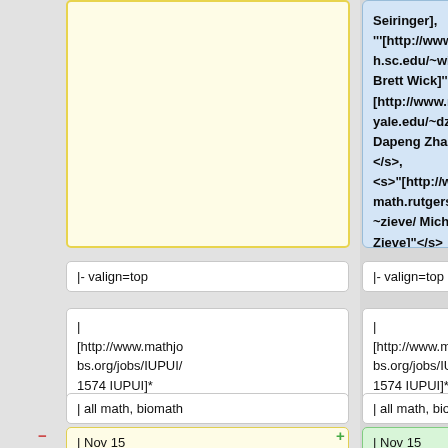Seiringer], '''[http://www.math.sc.edu/~wick/ Brett Wick]''', <s>[http://www.math.yale.edu/~dz69/ Dapeng Zhan]</s>, <s>"[http://www.math.rutgers.edu/~zieve/ Michael Zieve]"</s>
|- valign=top
|- valign=top
| [http://www.mathjobs.org/jobs/IUPUI/1574 IUPUI]*
| [http://www.mathjobs.org/jobs/IUPUI/1574 IUPUI]*
| all math, biomath
| all math, biomath
| Nov 15
| Nov 15